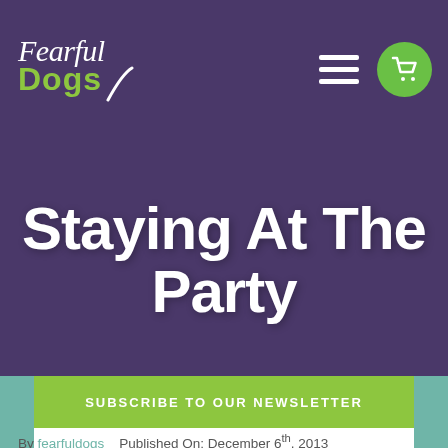Fearful Dogs
Staying At The Party
SUBSCRIBE TO OUR NEWSLETTER
By fearfuldogs   Published On: December 6th, 2013
I received this message on Facebook. I thought